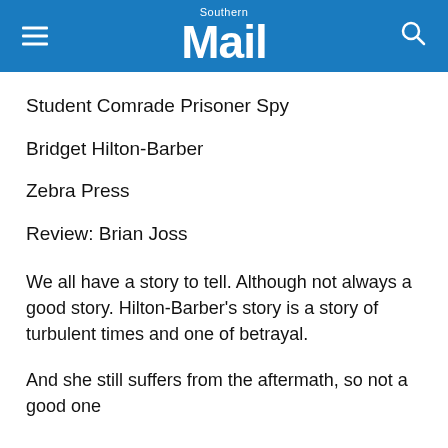Southern Mail
Student Comrade Prisoner Spy
Bridget Hilton-Barber
Zebra Press
Review: Brian Joss
We all have a story to tell. Although not always a good story. Hilton-Barber's story is a story of turbulent times and one of betrayal.
And she still suffers from the aftermath, so not a good one